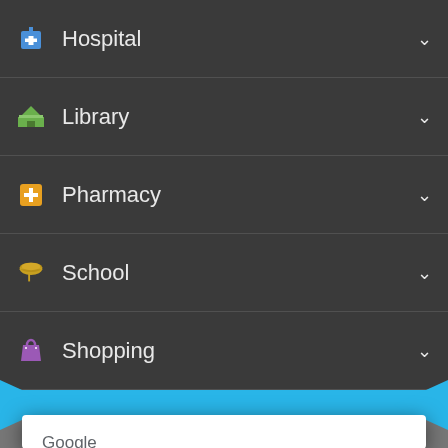Hospital
Library
Pharmacy
School
Shopping
Trainstation
[Figure (screenshot): Google Maps error dialog: 'This page can't load Google Maps correctly.' with 'Do you own this website?' and OK button]
Google
This page can't load Google Maps correctly.
Do you own this website?
OK